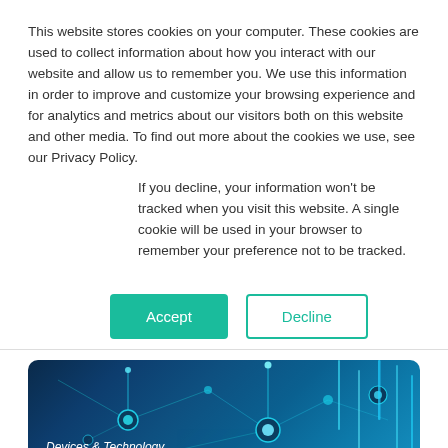This website stores cookies on your computer. These cookies are used to collect information about how you interact with our website and allow us to remember you. We use this information in order to improve and customize your browsing experience and for analytics and metrics about our visitors both on this website and other media. To find out more about the cookies we use, see our Privacy Policy.
If you decline, your information won't be tracked when you visit this website. A single cookie will be used in your browser to remember your preference not to be tracked.
[Figure (other): Two buttons: Accept (teal filled) and Decline (teal outlined)]
[Figure (photo): Dark blue technology/network background image with glowing circuit nodes and vertical light streaks. Label reads 'Devices & Technology' in italic white text.]
Data from Your CGM Could Help Change the Future of